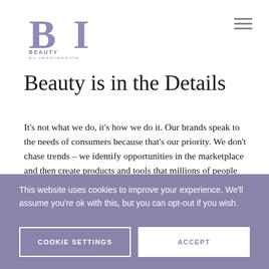[Figure (logo): Beauty By Imagination logo — stylized 'BI' monogram in muted purple/slate-blue with 'BEAUTY BY IMAGINATION' text beneath]
Beauty is in the Details
It's not what we do, it's how we do it. Our brands speak to the needs of consumers because that's our priority. We don't chase trends – we identify opportunities in the marketplace and then create products and tools that millions of people rely on daily.
This website uses cookies to improve your experience. We'll assume you're ok with this, but you can opt-out if you wish.